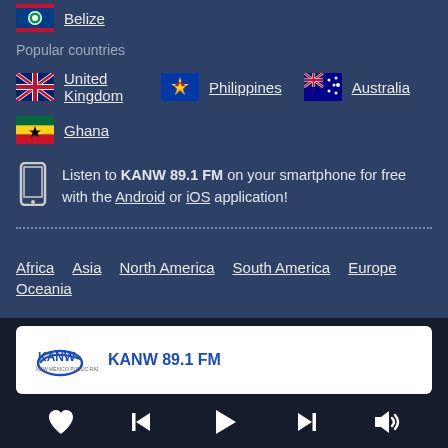Belize
Popular countries
United Kingdom
Philippines
Australia
Ghana
Listen to KANW 89.1 FM on your smartphone for free with the Android or iOS application!
Africa
Asia
North America
South America
Europe
Oceania
[Figure (screenshot): KANW 89.1 FM radio player card with logo and playback controls (heart, skip back, play, skip forward, volume)]